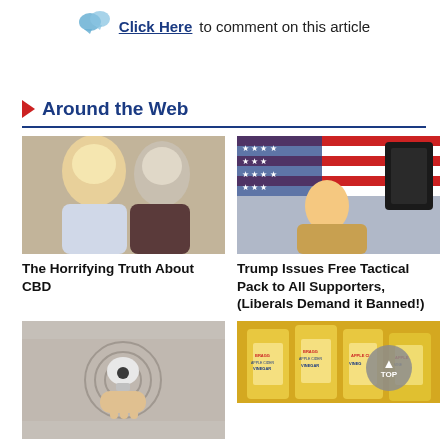Click Here to comment on this article
Around the Web
[Figure (photo): Photo of a blonde woman and older man with gray beard smiling together]
The Horrifying Truth About CBD
[Figure (photo): Photo of Donald Trump pointing in front of American flag with a tactical backpack inset]
Trump Issues Free Tactical Pack to All Supporters, (Liberals Demand it Banned!)
[Figure (photo): Photo of a hand holding a round light bulb or camera device against a woven background]
[Figure (photo): Photo of multiple bottles of Bragg Apple Cider Vinegar]